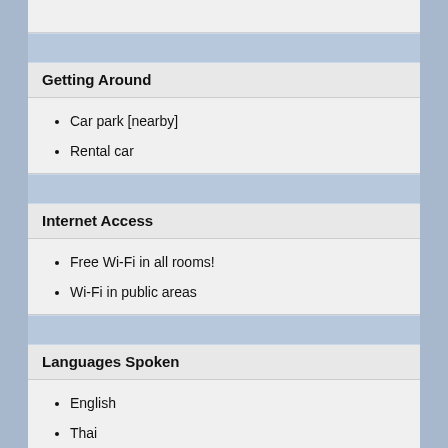Getting Around
Car park [nearby]
Rental car
Internet Access
Free Wi-Fi in all rooms!
Wi-Fi in public areas
Languages Spoken
English
Thai